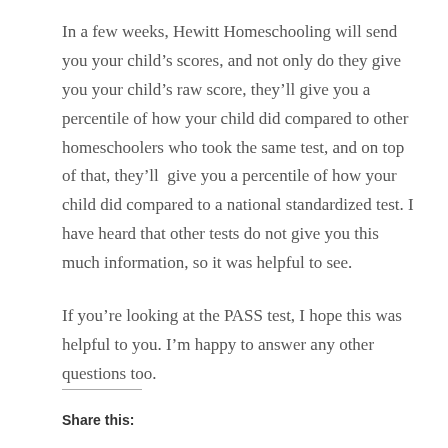In a few weeks, Hewitt Homeschooling will send you your child's scores, and not only do they give you your child's raw score, they'll give you a percentile of how your child did compared to other homeschoolers who took the same test, and on top of that, they'll  give you a percentile of how your child did compared to a national standardized test. I have heard that other tests do not give you this much information, so it was helpful to see.
If you're looking at the PASS test, I hope this was helpful to you. I'm happy to answer any other questions too.
Share this: